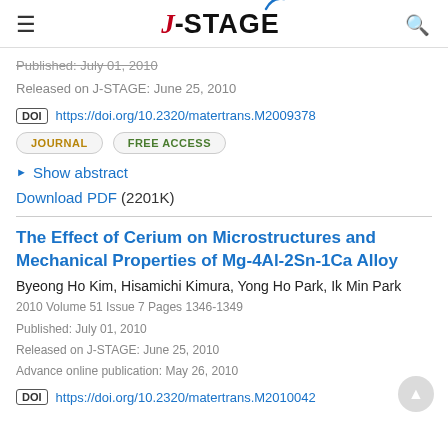J-STAGE
Published: July 01, 2010
Released on J-STAGE: June 25, 2010
DOI https://doi.org/10.2320/matertrans.M2009378
JOURNAL  FREE ACCESS
Show abstract
Download PDF (2201K)
The Effect of Cerium on Microstructures and Mechanical Properties of Mg-4Al-2Sn-1Ca Alloy
Byeong Ho Kim, Hisamichi Kimura, Yong Ho Park, Ik Min Park
2010 Volume 51 Issue 7 Pages 1346-1349
Published: July 01, 2010
Released on J-STAGE: June 25, 2010
Advance online publication: May 26, 2010
DOI https://doi.org/10.2320/matertrans.M2010042